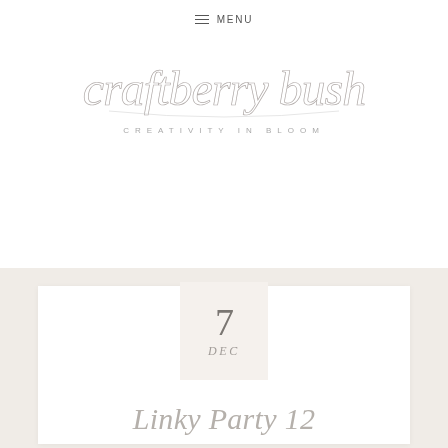≡ MENU
[Figure (logo): Craftberry Bush handwritten script logo with tagline 'CREATIVITY IN BLOOM']
7
DEC
Linky Party 12